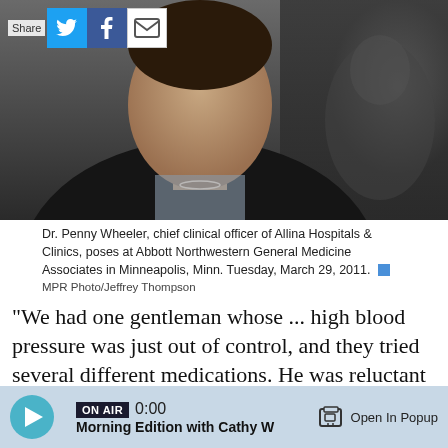[Figure (photo): Photo of Dr. Penny Wheeler, chief clinical officer of Allina Hospitals & Clinics, posed at Abbott Northwestern General Medicine Associates in Minneapolis. Share buttons for Twitter, Facebook, and email visible at top left.]
Dr. Penny Wheeler, chief clinical officer of Allina Hospitals & Clinics, poses at Abbott Northwestern General Medicine Associates in Minneapolis, Minn. Tuesday, March 29, 2011. MPR Photo/Jeffrey Thompson
"We had one gentleman whose ... high blood pressure was just out of control, and they tried several different medications. He was reluctant to admit to his doctor that he couldn't afford the medication, but he admitted that to his care guide. And we were able to give him some prescription
ON AIR 0:00 Morning Edition with Cathy W  Open In Popup